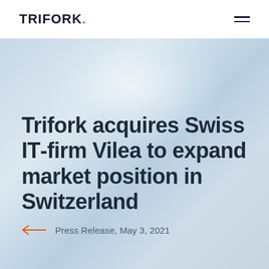TRIFORK.
Trifork acquires Swiss IT-firm Vilea to expand market position in Switzerland
Press Release, May 3, 2021